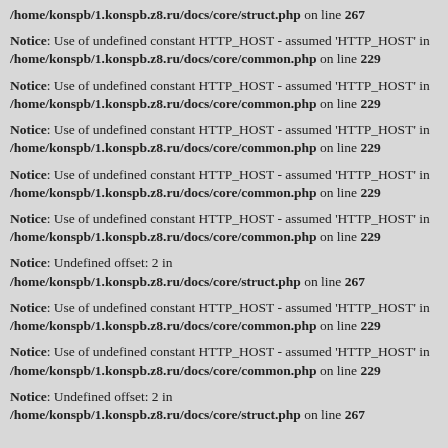/home/konspb/1.konspb.z8.ru/docs/core/struct.php on line 267
Notice: Use of undefined constant HTTP_HOST - assumed 'HTTP_HOST' in /home/konspb/1.konspb.z8.ru/docs/core/common.php on line 229
Notice: Use of undefined constant HTTP_HOST - assumed 'HTTP_HOST' in /home/konspb/1.konspb.z8.ru/docs/core/common.php on line 229
Notice: Use of undefined constant HTTP_HOST - assumed 'HTTP_HOST' in /home/konspb/1.konspb.z8.ru/docs/core/common.php on line 229
Notice: Use of undefined constant HTTP_HOST - assumed 'HTTP_HOST' in /home/konspb/1.konspb.z8.ru/docs/core/common.php on line 229
Notice: Use of undefined constant HTTP_HOST - assumed 'HTTP_HOST' in /home/konspb/1.konspb.z8.ru/docs/core/common.php on line 229
Notice: Undefined offset: 2 in /home/konspb/1.konspb.z8.ru/docs/core/struct.php on line 267
Notice: Use of undefined constant HTTP_HOST - assumed 'HTTP_HOST' in /home/konspb/1.konspb.z8.ru/docs/core/common.php on line 229
Notice: Use of undefined constant HTTP_HOST - assumed 'HTTP_HOST' in /home/konspb/1.konspb.z8.ru/docs/core/common.php on line 229
Notice: Undefined offset: 2 in /home/konspb/1.konspb.z8.ru/docs/core/struct.php on line 267